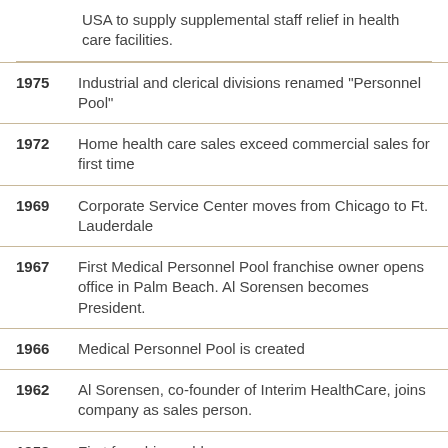USA to supply supplemental staff relief in health care facilities.
1975 Industrial and clerical divisions renamed "Personnel Pool"
1972 Home health care sales exceed commercial sales for first time
1969 Corporate Service Center moves from Chicago to Ft. Lauderdale
1967 First Medical Personnel Pool franchise owner opens office in Palm Beach. Al Sorensen becomes President.
1966 Medical Personnel Pool is created
1962 Al Sorensen, co-founder of Interim HealthCare, joins company as sales person.
1958 First franchise sold